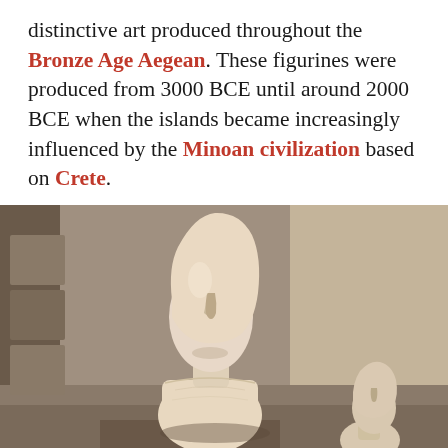distinctive art produced throughout the Bronze Age Aegean. These figurines were produced from 3000 BCE until around 2000 BCE when the islands became increasingly influenced by the Minoan civilization based on Crete.
[Figure (photo): Photograph of two Cycladic marble figurines displayed in a museum. The larger figurine in the foreground has a distinctive elongated oval head with a simple protruding nose, a narrow neck, and a broad torso. A smaller figurine is visible to the right in the background. The background shows soft-focus stone display structures in warm beige and grey tones.]